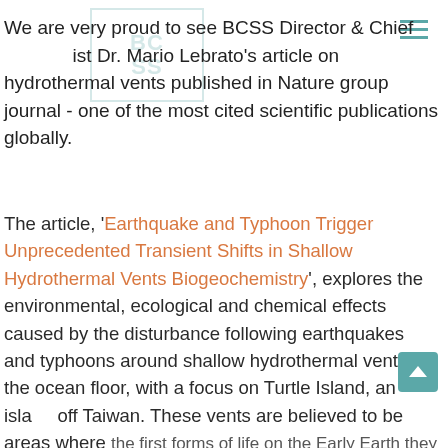BCSS (logo watermark)
We are very proud to see BCSS Director & Chief Scientist Dr. Mario Lebrato's article on hydrothermal vents published in Nature group journal - one of the most cited scientific publications globally.
The article, 'Earthquake and Typhoon Trigger Unprecedented Transient Shifts in Shallow Hydrothermal Vents Biogeochemistry', explores the environmental, ecological and chemical effects caused by the disturbance following earthquakes and typhoons around shallow hydrothermal vents in the ocean floor, with a focus on Turtle Island, an island off Taiwan. These vents are believed to be areas where the first forms of life on the Early Earth they affect